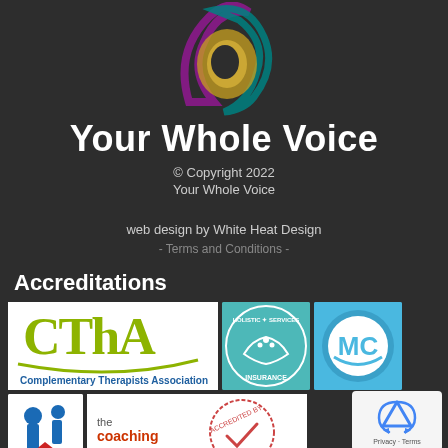[Figure (logo): Your Whole Voice swirling circular logo with purple, teal, and gold/yellow colors on dark background]
Your Whole Voice
© Copyright 2022
Your Whole Voice
web design by White Heat Design
- Terms and Conditions -
Accreditations
[Figure (logo): CThA Complementary Therapists Association logo]
[Figure (logo): Holistic Services Insurance logo - circular teal badge]
[Figure (logo): MC logo - blue circular logo]
[Figure (logo): M logo with red/dark house shape]
[Figure (logo): The Coaching accredited stamp logo]
[Figure (logo): reCAPTCHA logo with Privacy and Terms text]